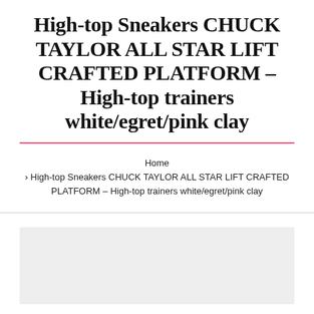High-top Sneakers CHUCK TAYLOR ALL STAR LIFT CRAFTED PLATFORM – High-top trainers white/egret/pink clay
Home › High-top Sneakers CHUCK TAYLOR ALL STAR LIFT CRAFTED PLATFORM – High-top trainers white/egret/pink clay
[Figure (other): Gray placeholder image area at the bottom of the page]